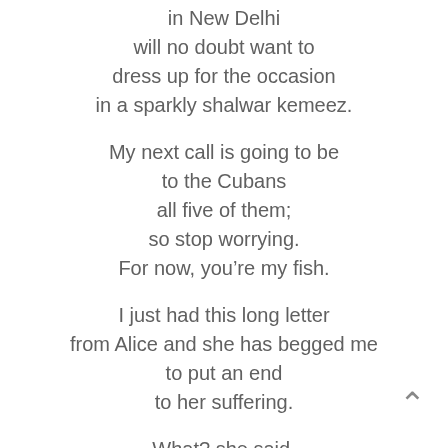in New Delhi
will no doubt want to
dress up for the occasion
in a sparkly shalwar kemeez.

My next call is going to be
to the Cubans
all five of them;
so stop worrying.
For now, you're my fish.

I just had this long letter
from Alice and she has begged me
to put an end
to her suffering.

What? she said.
You think these men are the only ones who suffer
when Old Style America locks them up
& throws away
the key?
I can't tell you, she goes on,
the changes